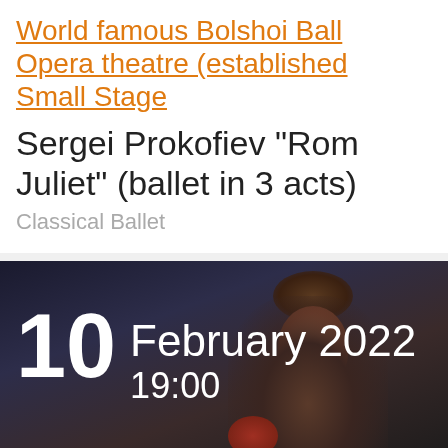World famous Bolshoi Ballet Opera theatre (established Small Stage
Sergei Prokofiev "Romeo & Juliet" (ballet in 3 acts)
Classical Ballet
[Figure (photo): Promotional image for the Bolshoi Ballet performance showing the date 10 February 2022 at 19:00 overlaid on a dark stage photo with performers in costume]